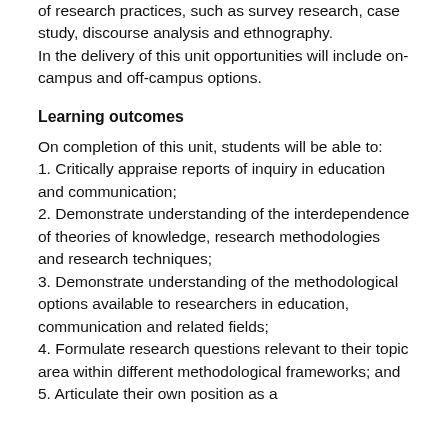of research practices, such as survey research, case study, discourse analysis and ethnography.
In the delivery of this unit opportunities will include on-campus and off-campus options.
Learning outcomes
On completion of this unit, students will be able to:
1. Critically appraise reports of inquiry in education and communication;
2. Demonstrate understanding of the interdependence of theories of knowledge, research methodologies and research techniques;
3. Demonstrate understanding of the methodological options available to researchers in education, communication and related fields;
4. Formulate research questions relevant to their topic area within different methodological frameworks; and
5. Articulate their own position as a